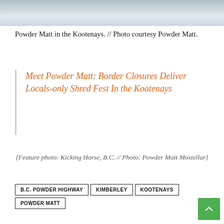[Figure (photo): Photo strip at top of page showing snowy mountain/skiing scene in Kootenays]
Powder Matt in the Kootenays. // Photo courtesy Powder Matt.
Meet Powder Matt: Border Closures Deliver Locals-only Shred Fest In the Kootenays
[Feature photo: Kicking Horse, B.C. // Photo: Powder Matt Mostellar]
B.C. POWDER HIGHWAY
KIMBERLEY
KOOTENAYS
POWDER MATT